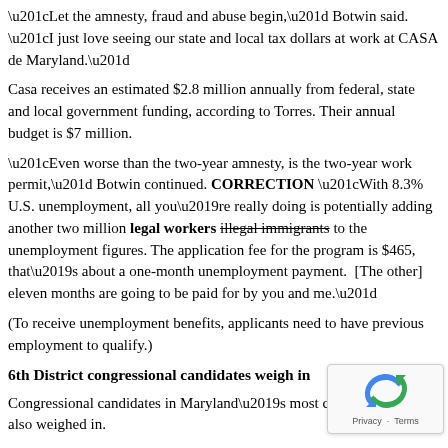“Let the amnesty, fraud and abuse begin,” Botwin said. “I just love seeing our state and local tax dollars at work at CASA de Maryland.”
Casa receives an estimated $2.8 million annually from federal, state and local government funding, according to Torres. Their annual budget is $7 million.
“Even worse than the two-year amnesty, is the two-year work permit,” Botwin continued. CORRECTION “With 8.3% U.S. unemployment, all you’re really doing is potentially adding another two million legal workers illegal immigrants to the unemployment figures. The application fee for the program is $465, that’s about a one-month unemployment payment. [The other] eleven months are going to be paid for by you and me.”
(To receive unemployment benefits, applicants need to have previous employment to qualify.)
6th District congressional candidates weigh in
Congressional candidates in Maryland’s most competitive race also weighed in.
Ten-term Republican Rep. Roscoe Bartlett in the 6th Congressional District opposed the plan.